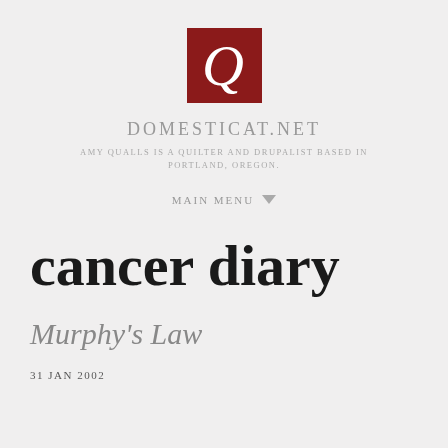[Figure (logo): Dark red square logo with white letter Q in serif font, representing domesticat.net website]
DOMESTICAT.NET
AMY QUALLS IS A QUILTER AND DRUPALIST BASED IN PORTLAND, OREGON.
MAIN MENU ▼
cancer diary
Murphy's Law
31 JAN 2002